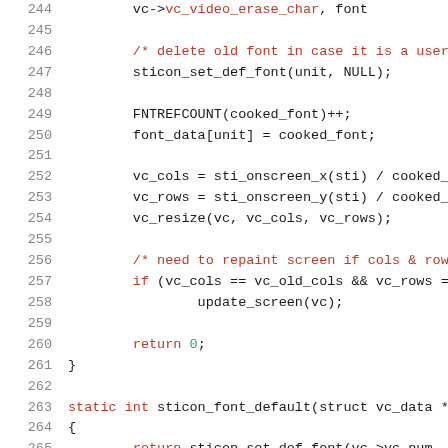[Figure (screenshot): Source code listing (C language) with line numbers 244–265. Lines show font handling and screen resize logic. Comments in red, keywords in red, numbers in green, regular code in dark text.]